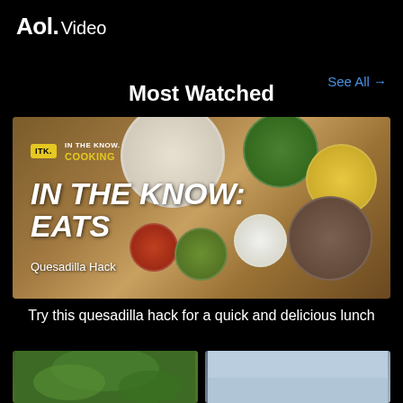Aol. Video
See All →
Most Watched
[Figure (screenshot): Video thumbnail for 'In The Know: Eats – Quesadilla Hack'. Shows overhead view of quesadilla ingredients including tortilla, shredded meat, cheese, guacamole, sour cream, jalapeños, and herbs on a wooden cutting board. Overlay text reads 'IN THE KNOW: EATS' with 'Quesadilla Hack' subtitle, and ITK Cooking logo badge.]
Try this quesadilla hack for a quick and delicious lunch
[Figure (screenshot): Bottom left thumbnail showing a green outdoor/nature scene.]
[Figure (screenshot): Bottom right thumbnail showing a light blue/grey scene.]